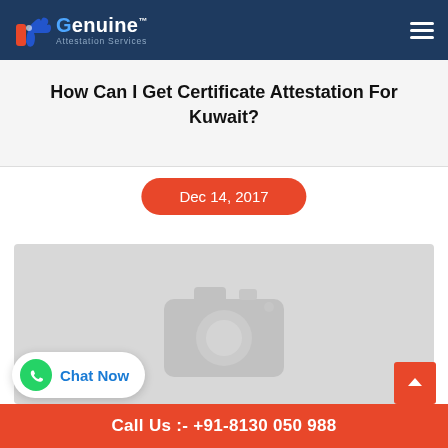Genuine Attestation Services
How Can I Get Certificate Attestation For Kuwait?
Dec 14, 2017
[Figure (photo): Placeholder camera icon image in gray]
Call Us :- +91-8130 050 988